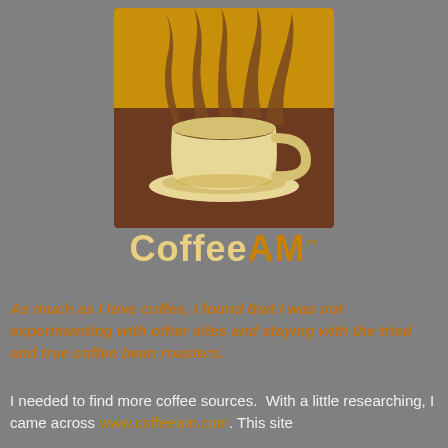[Figure (logo): CoffeeAM logo: a brown square with golden sunburst rays and a cream-colored coffee cup on a saucer in the foreground]
CoffeeAM™
As much as I love coffee, I found that I was not experimenting with other sites and staying with the tried and true coffee bean roasters.
I needed to find more coffee sources.  With a little researching, I came across www.coffeeam.com. This site